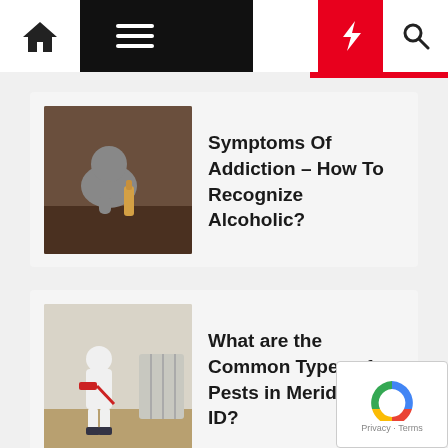Navigation bar with home, menu, dark mode, flash, and search icons
[Figure (screenshot): Article thumbnail: person hunched over a table holding a bottle]
Symptoms Of Addiction – How To Recognize Alcoholic?
[Figure (screenshot): Article thumbnail: pest control worker in white protective suit spraying indoors]
What are the Common Types of Pests in Meridian, ID?
[Figure (screenshot): Article thumbnail: close-up of a man's smile showing missing teeth]
Possible Risk Factors with Dental Implant Failure